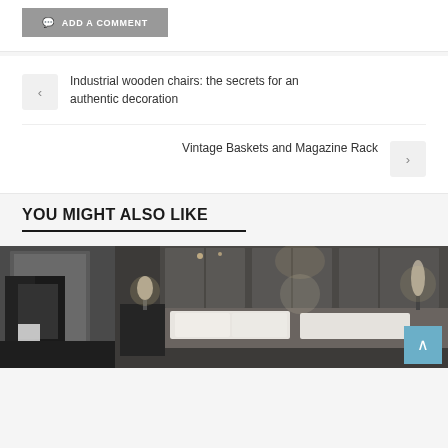ADD A COMMENT
Industrial wooden chairs: the secrets for an authentic decoration
Vintage Baskets and Magazine Rack
YOU MIGHT ALSO LIKE
[Figure (photo): Dark luxury bedroom interior with upholstered headboard, bedside lamps, and moody lighting]